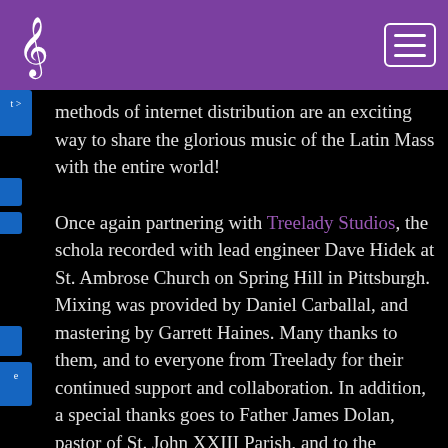[treble clef logo] [hamburger menu button]
methods of internet distribution are an exciting way to share the glorious music of the Latin Mass with the entire world!
Once again partnering with Treelady Studios, the schola recorded with lead engineer Dave Hidek at St. Ambrose Church on Spring Hill in Pittsburgh. Mixing was provided by Daniel Carballal, and mastering by Garrett Haines. Many thanks to them, and to everyone from Treelady for their continued support and collaboration. In addition, a special thanks goes to Father James Dolan, pastor of St. John XXIII Parish, and to the management and staff